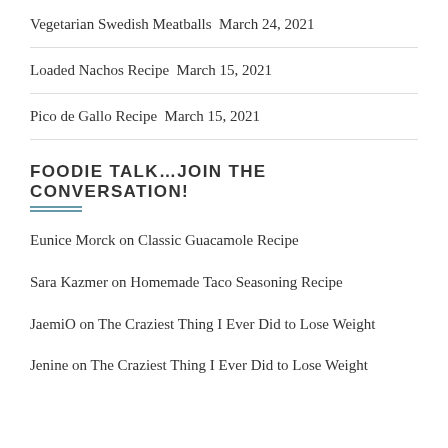Vegetarian Swedish Meatballs March 24, 2021
Loaded Nachos Recipe March 15, 2021
Pico de Gallo Recipe March 15, 2021
FOODIE TALK…JOIN THE CONVERSATION!
Eunice Morck on Classic Guacamole Recipe
Sara Kazmer on Homemade Taco Seasoning Recipe
JaemiO on The Craziest Thing I Ever Did to Lose Weight
Jenine on The Craziest Thing I Ever Did to Lose Weight